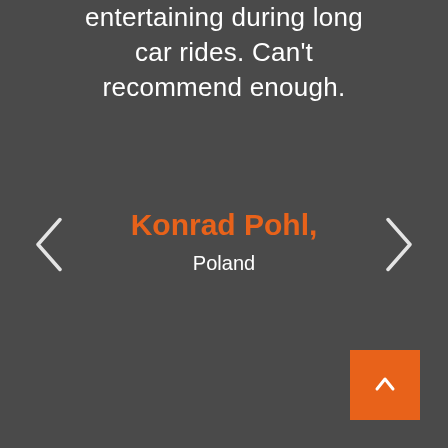entertaining during long car rides. Can't recommend enough.
Konrad Pohl,
Poland
[Figure (illustration): Left navigation arrow chevron in white]
[Figure (illustration): Right navigation arrow chevron in white]
[Figure (illustration): Orange scroll-to-top button with upward chevron arrow]